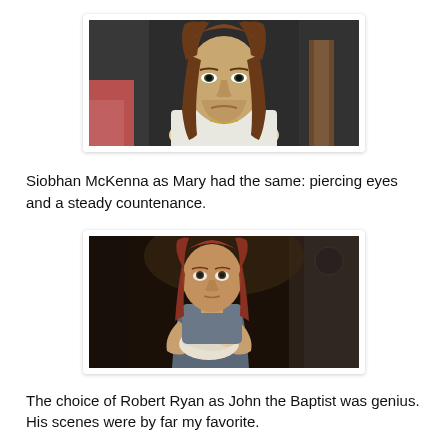[Figure (photo): A man with long brown hair wearing a white shirt, looking directly at the camera with a serious expression, against a dark background.]
Siobhan McKenna as Mary had the same: piercing eyes and a steady countenance.
[Figure (photo): A woman with long reddish-brown hair in a blue garment, holding a swaddled infant, in a dark rustic interior setting.]
The choice of Robert Ryan as John the Baptist was genius. His scenes were by far my favorite.